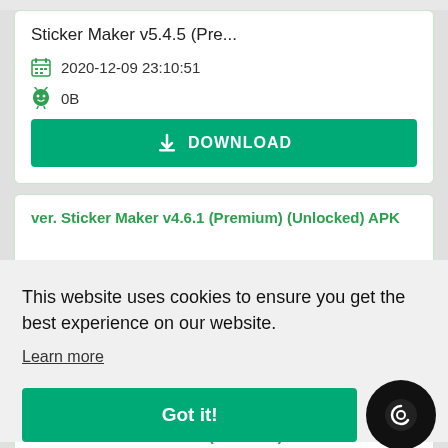Sticker Maker v5.4.5 (Pre...
2020-12-09 23:10:51
0B
DOWNLOAD
ver. Sticker Maker v4.6.1 (Premium) (Unlocked) APK
This website uses cookies to ensure you get the best experience on our website.
Learn more
Got it!
ver. Sticker Maker v4.4.3 (Premium) APK